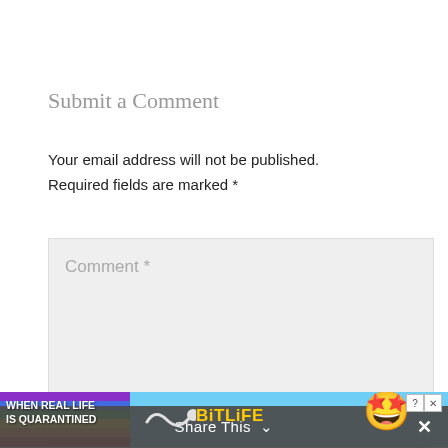Submit a Comment
Your email address will not be published. Required fields are marked *
[Figure (screenshot): Comment text input field (textarea) with placeholder text 'Comment *', light gray background, resize handle at bottom right]
[Figure (infographic): BitLife advertisement banner with rainbow stripe on left, text 'WHEN REAL LIFE IS QUARANTINED', BitLife logo, emoji character with star eyes and face mask, help and close buttons]
Share This ∨ ×